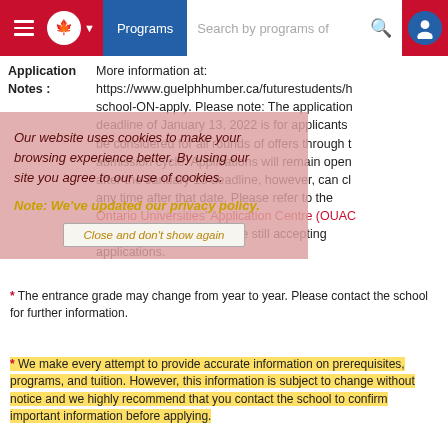Programs | Search by programs of study
Application Notes : More information at: https://www.guelphhumber.ca/futurestudents/h school-ON-apply. Please note: The application deadline of January 13, 2022 is for applicants be considered for all rounds of offers through the admission cycle. Applications will remain open after the January 13 deadline, however, can close any time after that date. Please refer to the Ontario Universities' Application Centre (OUAC) to view which programs are still accepting applications.
Our website uses cookies to make your browsing experience better. By using our site you agree to our use of cookies.
Note: We've updated our privacy policy.
Close and don't show again
* The entrance grade may change from year to year. Please contact the school for further information.
* We make every attempt to provide accurate information on prerequisites, programs, and tuition. However, this information is subject to change without notice and we highly recommend that you contact the school to confirm important information before applying.